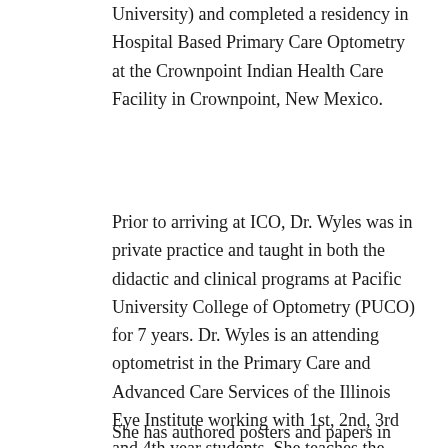University) and completed a residency in Hospital Based Primary Care Optometry at the Crownpoint Indian Health Care Facility in Crownpoint, New Mexico.
Prior to arriving at ICO, Dr. Wyles was in private practice and taught in both the didactic and clinical programs at Pacific University College of Optometry (PUCO) for 7 years. Dr. Wyles is an attending optometrist in the Primary Care and Advanced Care Services of the Illinois Eye Institute working with 1st, 2nd, 3rd and 4th year students. She teaches the Retina course and is involved in the Injections and Minor Surgical Procedures for Optometrists course. Additionally she teaches in the Ocular Anatomy course.
She has authored posters and papers in optometric